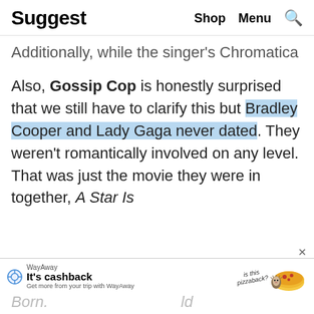Suggest   Shop   Menu
Additionally, while the singer's Chromatica Ball Tour won't go forward this summer, it was just announced a couple days ago that she's moving it to next year. Are we supposed to believe she would still be planning to do a world tour after just giving birth to a baby?
Also, Gossip Cop is honestly surprised that we still have to clarify this but Bradley Cooper and Lady Gaga never dated. They weren't romantically involved on any level. That was just the movie they were in together, A Star Is Born.
[Figure (other): WayAway advertisement banner: 'It's cashback - Get more from your trip with WayAway' with pizza character and 'is this pizzaback?' text, and an X close button]